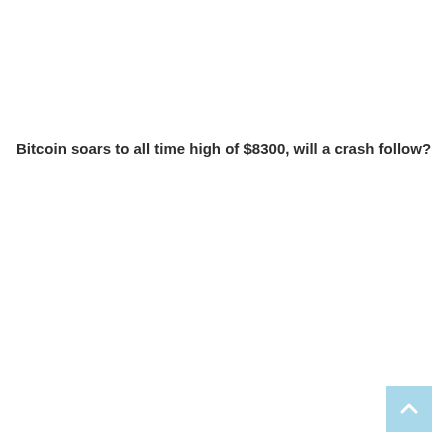Bitcoin soars to all time high of $8300, will a crash follow?